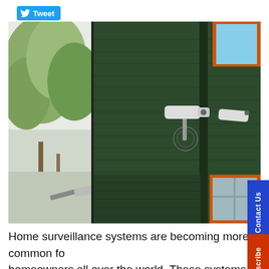[Figure (screenshot): Twitter Tweet button with bird icon]
[Figure (photo): Photo collage of two security/surveillance cameras mounted on buildings. Left panel shows a white elongated security camera mounted on a post amid trees. Right panel shows a green wooden siding building with two white surveillance cameras mounted, and orange-framed windows visible.]
Home surveillance systems are becoming more common for homeowners all over the world. These systems are so widely available now that even apartment renters are installing cameras and alarms in their space! If your Rehoboth, MD home doesn't have the protection of a home surveillance